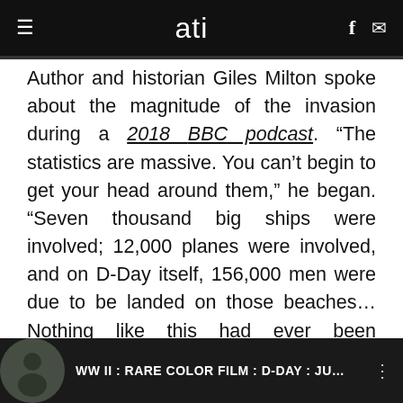ati
Author and historian Giles Milton spoke about the magnitude of the invasion during a 2018 BBC podcast. “The statistics are massive. You can’t begin to get your head around them,” he began. “Seven thousand big ships were involved; 12,000 planes were involved, and on D-Day itself, 156,000 men were due to be landed on those beaches… Nothing like this had ever been attempted before in the history of warfare.”
[Figure (screenshot): Video thumbnail bar showing WW II : RARE COLOR FILM : D-DAY : JU... with a circular profile image on the left and a three-dot menu icon on the right, on a dark background.]